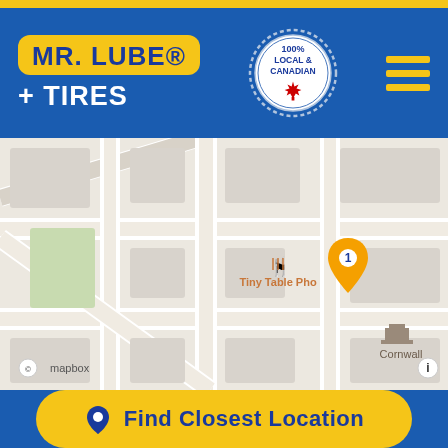[Figure (logo): Mr. Lube + Tires logo with yellow background box and white plus tires text below]
[Figure (other): 100% Local & Canadian badge/seal with Canadian maple leaf]
[Figure (other): Hamburger menu icon with three yellow horizontal bars]
[Figure (map): Mapbox street map showing location pin numbered 1, with nearby landmarks Tiny Table Pho and Cornwall]
Find Closest Location